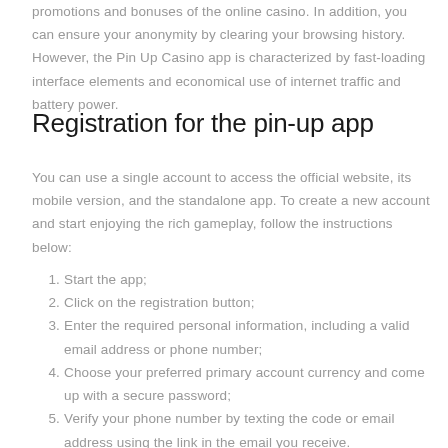promotions and bonuses of the online casino. In addition, you can ensure your anonymity by clearing your browsing history. However, the Pin Up Casino app is characterized by fast-loading interface elements and economical use of internet traffic and battery power.
Registration for the pin-up app
You can use a single account to access the official website, its mobile version, and the standalone app. To create a new account and start enjoying the rich gameplay, follow the instructions below:
Start the app;
Click on the registration button;
Enter the required personal information, including a valid email address or phone number;
Choose your preferred primary account currency and come up with a secure password;
Verify your phone number by texting the code or email address using the link in the email you receive.